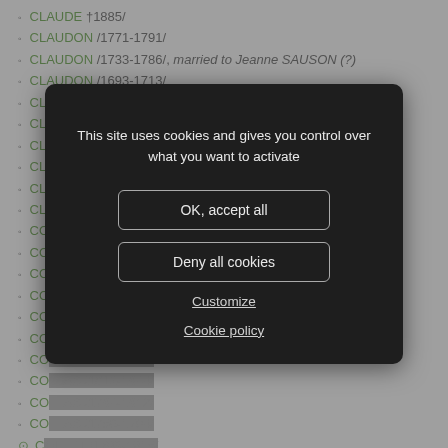CLAUDE †1885/
CLAUDON /1771-1791/
CLAUDON /1733-1786/, married to Jeanne SAUSON (?)
CLAUDON /1693-1713/
CLAUDE /1793-1937/ married to Barbe JEANDEMERCE
CL... ...IER
CL...
CL...
CL...
CO...
CO...
CO...
CO...
CO...
CO...
CO...
CO...
CO...
CO...
CO... (selected)
CO...
COLLET /1764-1784/
COLLET /1675-1695/
COLLET /1662-1682/
COLLIGNON /1916-1937/
COLLIGNON 1912-1985, son of Silvère and Joséphine Marie Louise
[Figure (screenshot): Cookie consent modal dialog overlay on a genealogy website. Dark background modal with text 'This site uses cookies and gives you control over what you want to activate', buttons 'OK, accept all' and 'Deny all cookies', and links 'Customize' and 'Cookie policy'.]